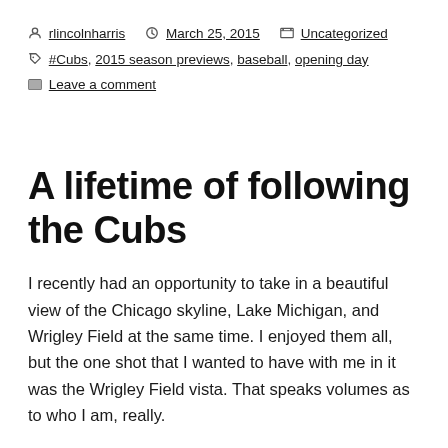rlincolnharris  March 25, 2015  Uncategorized  #Cubs, 2015 season previews, baseball, opening day  Leave a comment
A lifetime of following the Cubs
I recently had an opportunity to take in a beautiful view of the Chicago skyline, Lake Michigan, and Wrigley Field at the same time. I enjoyed them all, but the one shot that I wanted to have with me in it was the Wrigley Field vista. That speaks volumes as to who I am, really.